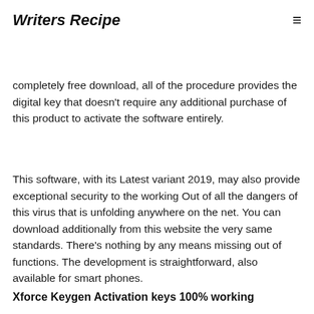Writers Recipe
offers many tools implemented we have got the technology to enhance performance. Due to its completely free download, all of the procedure provides the digital key that doesn’t require any additional purchase of this product to activate the software entirely.
This software, with its Latest variant 2019, may also provide exceptional security to the working Out of all the dangers of this virus that is unfolding anywhere on the net. You can download additionally from this website the very same standards. There’s nothing by any means missing out of functions. The development is straightforward, also available for smart phones.
Xforce Keygen Activation keys 100% working